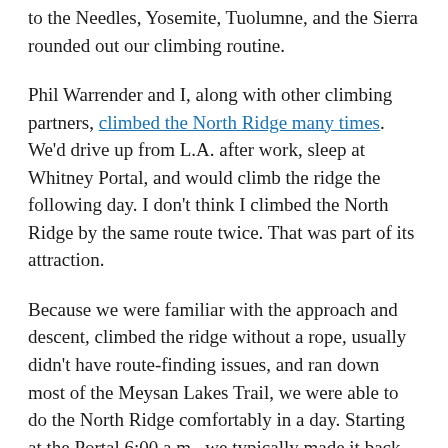to the Needles, Yosemite, Tuolumne, and the Sierra rounded out our climbing routine.
Phil Warrender and I, along with other climbing partners, climbed the North Ridge many times. We'd drive up from L.A. after work, sleep at Whitney Portal, and would climb the ridge the following day. I don't think I climbed the North Ridge by the same route twice. That was part of its attraction.
Because we were familiar with the approach and descent, climbed the ridge without a rope, usually didn't have route-finding issues, and ran down most of the Meysan Lakes Trail, we were able to do the North Ridge comfortably in a day. Starting at the Portal 6:00 a.m., we typically made it back in the mid to late afternoon.
You can't climb the North Ridge, or look at Lone Pine Peak from the Owens Valley, and not think about climbing the Northeast Ridge. To our climbing eyes, the Northeast Ridge